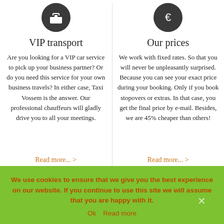[Figure (illustration): Dark circle icon with a briefcase/toolbox symbol]
[Figure (illustration): Dark circle icon with a euro sign]
VIP transport
Our prices
Are you looking for a VIP car service to pick up your business partner? Or do you need this service for your own business travels? In either case, Taxi Vossem is the answer. Our professional chauffeurs will gladly drive you to all your meetings.
We work with fixed rates. So that you will never be unpleasantly surprised. Because you can see your exact price during your booking. Only if you book stopovers or extras. In that case, you get the final price by e-mail. Besides, we are 45% cheaper than others!
Read more... >
Read more... >
We use cookies to ensure that we give you the best experience on our website. If you continue to use this site we will assume that you are happy with it.
Ok  Read more